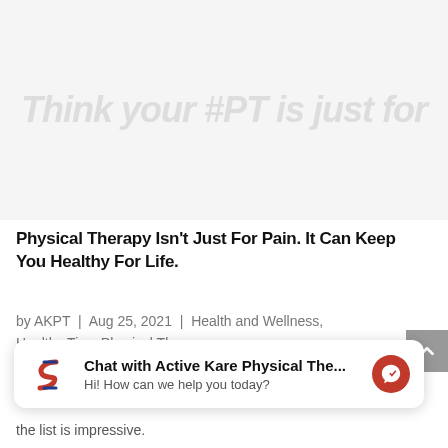[Figure (illustration): Faded watermark-style background image with overlaid text 'Think your #PT is just for' in light gray italic font, suggesting a physical therapy promotional image]
Physical Therapy Isn't Just For Pain. It Can Keep You Healthy For Life.
by AKPT | Aug 25, 2021 | Health and Wellness, Healthy Tips, Physical Therapy
[Figure (screenshot): Chat widget showing logo of Active Kare Physical Therapy (stylized S logo in red/blue), text 'Chat with Active Kare Physical The...' in bold, subtitle 'Hi! How can we help you today?', and a red Messenger icon on the right]
the list is impressive.